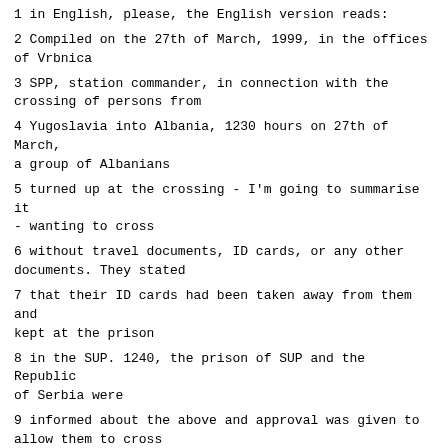1 in English, please, the English version reads:
2 Compiled on the 27th of March, 1999, in the offices of Vrbnica
3 SPP, station commander, in connection with the crossing of persons from
4 Yugoslavia into Albania, 1230 hours on 27th of March, a group of Albanians
5 turned up at the crossing - I'm going to summarise it - wanting to cross
6 without travel documents, ID cards, or any other documents. They stated
7 that their ID cards had been taken away from them and kept at the prison
8 in the SUP. 1240, the prison of SUP and the Republic of Serbia were
9 informed about the above and approval was given to allow them to cross
10 into Albania. Total of 94 people, women and children, crossed. We took
11 the personal details, note compiled.
12 Then over the page in the English we see that this